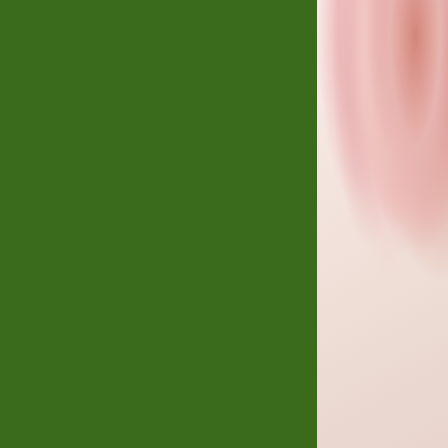[Figure (photo): Large dark green solid color panel occupying left two-thirds of the page]
[Figure (photo): Top right photo showing pink and pale flowers on a cream/white textured background]
Flutterbits
565725
[Figure (photo): Bottom right photo showing a red heart or butterfly decoration on a cream polka-dot background]